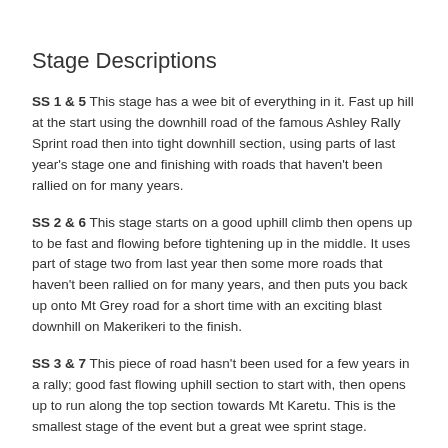Stage Descriptions
SS 1 & 5 This stage has a wee bit of everything in it. Fast up hill at the start using the downhill road of the famous Ashley Rally Sprint road then into tight downhill section, using parts of last year's stage one and finishing with roads that haven't been rallied on for many years.
SS 2 & 6 This stage starts on a good uphill climb then opens up to be fast and flowing before tightening up in the middle. It uses part of stage two from last year then some more roads that haven't been rallied on for many years, and then puts you back up onto Mt Grey road for a short time with an exciting blast downhill on Makerikeri to the finish.
SS 3 & 7 This piece of road hasn't been used for a few years in a rally; good fast flowing uphill section to start with, then opens up to run along the top section towards Mt Karetu. This is the smallest stage of the event but a great wee sprint stage.
SS 4 & 8 This stage is the same as it was run in last year's